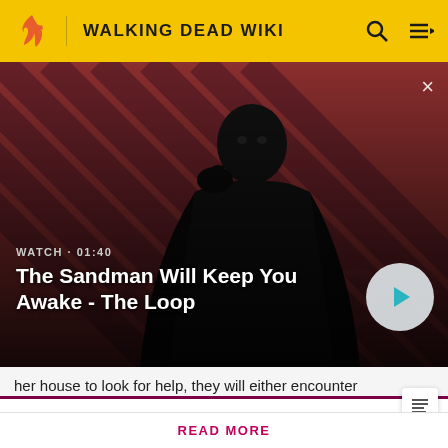WALKING DEAD WIKI
[Figure (screenshot): Video thumbnail for 'The Sandman Will Keep You Awake - The Loop' showing a dark figure with a raven on striped red/dark background with play button overlay. WATCH • 01:40]
her house to look for help, they will either encounter
Attention! Please be aware that spoilers are not allowed on the wiki and a violation of this policy may result in a ban.
READ MORE